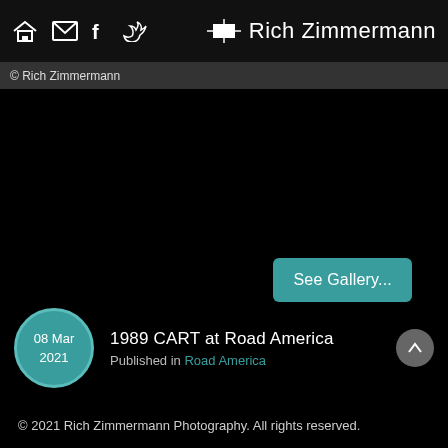Rich Zimmermann
© Rich Zimmermann
[Figure (screenshot): Dark/black background area representing a photo gallery or portfolio image area]
See Gallery...
08 Mar 2021
1989 CART at Road America
Published in Road America
© 2021 Rich Zimmermann Photography. All rights reserved.